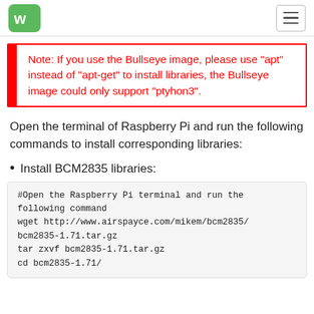[Figure (logo): Waveshare logo - green rounded square with white 'ws' text, and hamburger menu icon on the right]
Note: If you use the Bullseye image, please use "apt" instead of "apt-get" to install libraries, the Bullseye image could only support "ptyhon3".
Open the terminal of Raspberry Pi and run the following commands to install corresponding libraries:
Install BCM2835 libraries:
#Open the Raspberry Pi terminal and run the following command
wget http://www.airspayce.com/mikem/bcm2835/bcm2835-1.71.tar.gz
tar zxvf bcm2835-1.71.tar.gz
cd bcm2835-1.71/